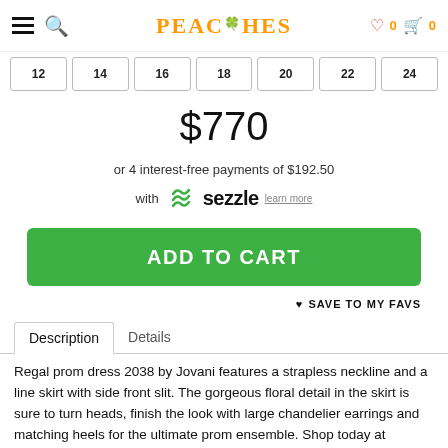PEACHES
12  14  16  18  20  22  24
$770
or 4 interest-free payments of $192.50 with Sezzle learn more
ADD TO CART
♥ SAVE TO MY FAVS
Description  |  Details
Regal prom dress 2038 by Jovani features a strapless neckline and a line skirt with side front slit. The gorgeous floral detail in the skirt is sure to turn heads, finish the look with large chandelier earrings and matching heels for the ultimate prom ensemble. Shop today at